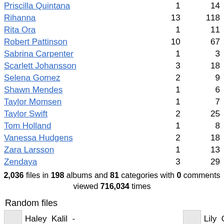| Name | Albums | Files |
| --- | --- | --- |
| Priscilla Quintana | 1 | 14 |
| Rihanna | 13 | 118 |
| Rita Ora | 1 | 11 |
| Robert Pattinson | 10 | 67 |
| Sabrina Carpenter | 1 | 3 |
| Scarlett Johansson | 3 | 18 |
| Selena Gomez | 2 | 9 |
| Shawn Mendes | 1 | 6 |
| Taylor Momsen | 1 | 7 |
| Taylor Swift | 2 | 25 |
| Tom Holland | 1 | 8 |
| Vanessa Hudgens | 2 | 18 |
| Zara Larsson | 1 | 13 |
| Zendaya | 3 | 29 |
2,036 files in 198 albums and 81 categories with 0 comments viewed 716,034 times
Random files
Haley Kalil -
Lily O